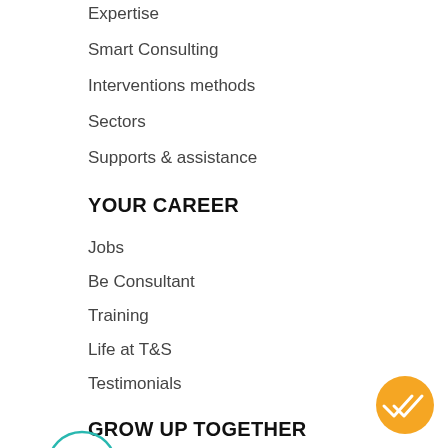Expertise
Smart Consulting
Interventions methods
Sectors
Supports & assistance
YOUR CAREER
Jobs
Be Consultant
Training
Life at T&S
Testimonials
GROW UP TOGETHER
[Figure (illustration): Circular back-to-top button with teal/cyan border and blue upward arrow inside]
Schools
Students
[Figure (illustration): Orange circular FAB button with white double-check/tick icon]